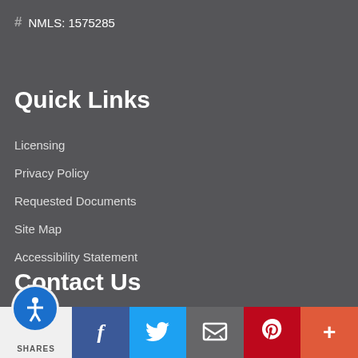# NMLS: 1575285
Quick Links
Licensing
Privacy Policy
Requested Documents
Site Map
Accessibility Statement
Contact Us
First Name *
[Figure (other): Social sharing bar with accessibility icon, Facebook, Twitter, Email, Pinterest, and More buttons. Shows SHARES label.]